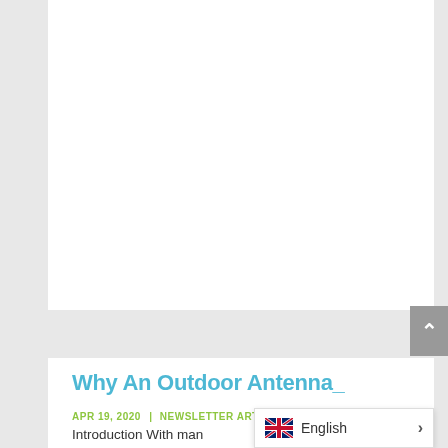[Figure (other): White content card area (upper portion of a webpage screenshot), blank white space representing article image or content above the fold]
Why An Outdoor Antenna_
APR 19, 2020 | NEWSLETTER ARTICLES
Introduction With man